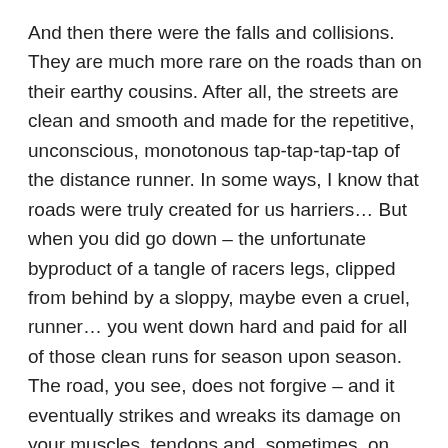And then there were the falls and collisions. They are much more rare on the roads than on their earthy cousins. After all, the streets are clean and smooth and made for the repetitive, unconscious, monotonous tap-tap-tap-tap of the distance runner. In some ways, I know that roads were truly created for us harriers… But when you did go down – the unfortunate byproduct of a tangle of racers legs, clipped from behind by a sloppy, maybe even a cruel, runner… you went down hard and paid for all of those clean runs for season upon season. The road, you see, does not forgive – and it eventually strikes and wreaks its damage on your muscles, tendons and, sometimes, on your bones.
And then I competed in my first trail race. I was bitten forever. The undulations, the random ups and downs, the